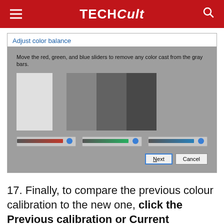TECHCult
[Figure (screenshot): Windows color calibration dialog titled 'Adjust color balance' showing four vertical gray bars ranging from light to dark, with three sliders for red, green, and blue color adjustment, and Next/Cancel buttons.]
17. Finally, to compare the previous colour calibration to the new one, click the Previous calibration or Current